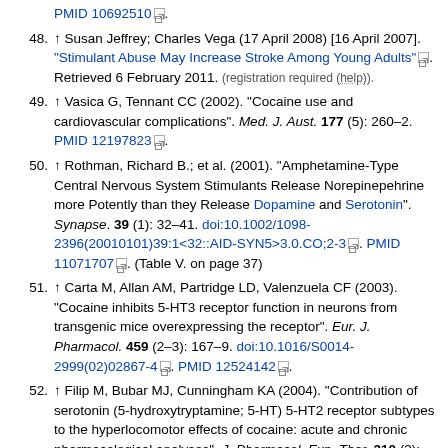PMID 10692510. (continuation of previous item)
48. ↑ Susan Jeffrey; Charles Vega (17 April 2008) [16 April 2007]. "Stimulant Abuse May Increase Stroke Among Young Adults". Retrieved 6 February 2011. (registration required (help)).
49. ↑ Vasica G, Tennant CC (2002). "Cocaine use and cardiovascular complications". Med. J. Aust. 177 (5): 260–2. PMID 12197823.
50. ↑ Rothman, Richard B.; et al. (2001). "Amphetamine-Type Central Nervous System Stimulants Release Norepinepehrine more Potently than they Release Dopamine and Serotonin". Synapse. 39 (1): 32–41. doi:10.1002/1098-2396(20010101)39:1<32::AID-SYN5>3.0.CO;2-3. PMID 11071707. (Table V. on page 37)
51. ↑ Carta M, Allan AM, Partridge LD, Valenzuela CF (2003). "Cocaine inhibits 5-HT3 receptor function in neurons from transgenic mice overexpressing the receptor". Eur. J. Pharmacol. 459 (2–3): 167–9. doi:10.1016/S0014-2999(02)02867-4. PMID 12524142.
52. ↑ Filip M, Bubar MJ, Cunningham KA (2004). "Contribution of serotonin (5-hydroxytryptamine; 5-HT) 5-HT2 receptor subtypes to the hyperlocomotor effects of cocaine: acute and chronic pharmacological analyses". J. Pharmacol. Exp. Ther. 310 (3): 1246–54. doi:10.1124/jpet.104.068841. PMID 15131246.
53. ↑ Beuming, Thijs; et al. (2008). "The binding sites for cocaine and dopamine in the dopamine transporter overlap". Nature ...